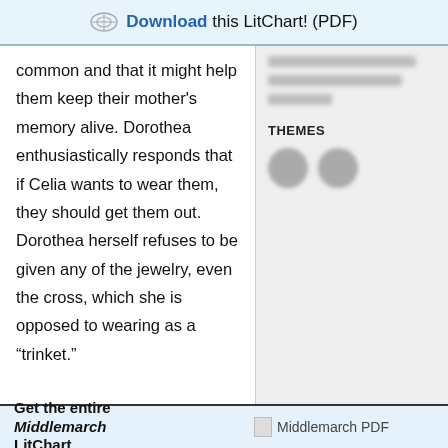Download this LitChart! (PDF)
common and that it might help them keep their mother's memory alive. Dorothea enthusiastically responds that if Celia wants to wear them, they should get them out. Dorothea herself refuses to be given any of the jewelry, even the cross, which she is opposed to wearing as a “trinket.”
THEMES
Get the entire Middlemarch LitChart...
[Figure (other): Middlemarch PDF thumbnail image]